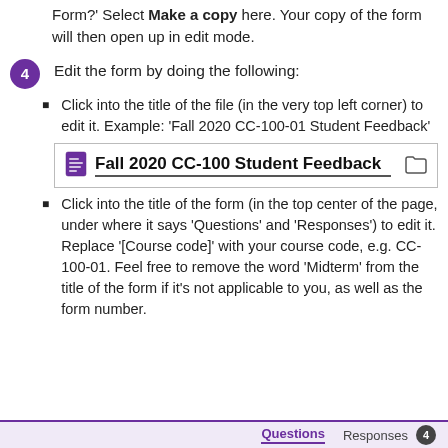Form?' Select Make a copy here. Your copy of the form will then open up in edit mode.
Edit the form by doing the following:
Click into the title of the file (in the very top left corner) to edit it. Example: 'Fall 2020 CC-100-01 Student Feedback'
[Figure (screenshot): Screenshot showing Google Forms file title bar with 'Fall 2020 CC-100 Student Feedback' typed in, with a document icon on the left and folder icon on the right]
Click into the title of the form (in the top center of the page, under where it says 'Questions' and 'Responses') to edit it. Replace '[Course code]' with your course code, e.g. CC-100-01. Feel free to remove the word 'Midterm' from the title of the form if it's not applicable to you, as well as the form number.
[Figure (screenshot): Bottom tab bar showing 'Questions' tab (active, underlined in purple) and 'Responses' tab with a badge showing 4]